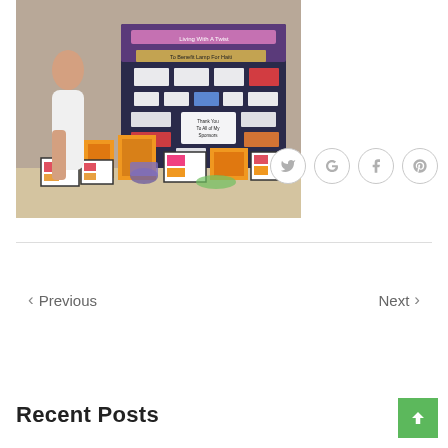[Figure (photo): A young woman standing at a table displaying framed artwork at a charity event. Behind her is a board reading 'To Benefit Lamp For Haiti' with sponsor logos. Orange-framed items and colorful cards are on the table.]
[Figure (other): Social sharing icons: Twitter (bird), Google+, Facebook (f), Pinterest (P) — circular outlined buttons]
‹ Previous
Next ›
Recent Posts